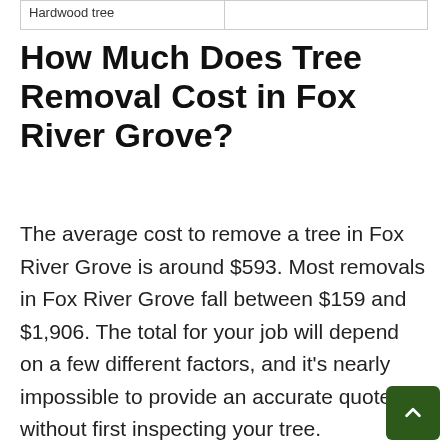| Hardwood tree |  |
| --- | --- |
How Much Does Tree Removal Cost in Fox River Grove?
The average cost to remove a tree in Fox River Grove is around $593. Most removals in Fox River Grove fall between $159 and $1,906. The total for your job will depend on a few different factors, and it's nearly impossible to provide an accurate quote without first inspecting your tree.